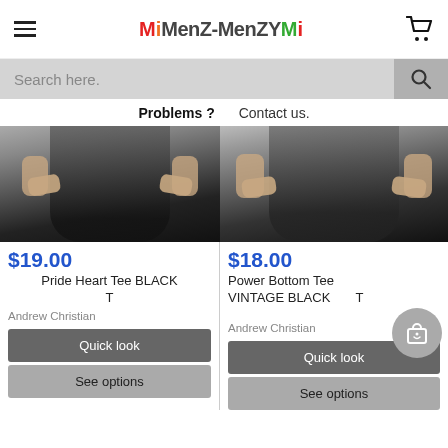MenZ-MenZYM [logo with hamburger menu and cart icon]
Search here.
Problems ?   Contact us.
[Figure (photo): Man wearing black jeans and black t-shirt, cropped at torso, showing hands near waistband]
$19.00
Pride Heart Tee BLACK T
Andrew Christian
Quick look
See options
[Figure (photo): Man wearing black jeans and dark t-shirt, cropped at torso, showing hands near waistband]
$18.00
Power Bottom Tee VINTAGE BLACK T
Andrew Christian
Quick look
See options